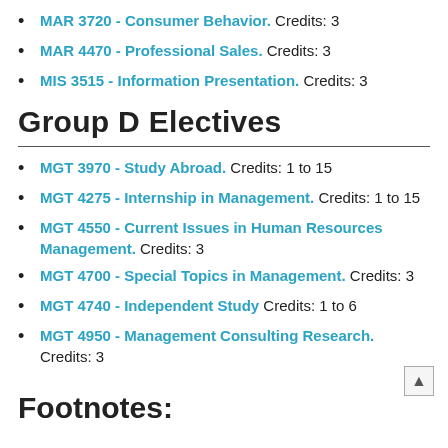MAR 3720 - Consumer Behavior. Credits: 3
MAR 4470 - Professional Sales. Credits: 3
MIS 3515 - Information Presentation. Credits: 3
Group D Electives
MGT 3970 - Study Abroad. Credits: 1 to 15
MGT 4275 - Internship in Management. Credits: 1 to 15
MGT 4550 - Current Issues in Human Resources Management. Credits: 3
MGT 4700 - Special Topics in Management. Credits: 3
MGT 4740 - Independent Study Credits: 1 to 6
MGT 4950 - Management Consulting Research. Credits: 3
Footnotes: